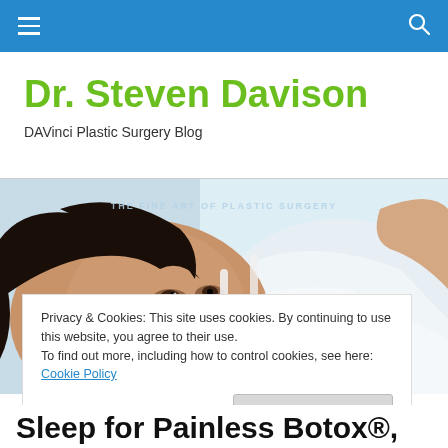Navigation bar with menu and search icons
Dr. Steven Davison
DAVinci Plastic Surgery Blog
[Figure (photo): Woman with dark hair lying down wearing white top, promotional photo for plastic surgery blog. Watermark text: THE FINE ART OF PLASTIC SURGERY]
Privacy & Cookies: This site uses cookies. By continuing to use this website, you agree to their use.
To find out more, including how to control cookies, see here: Cookie Policy
Close and accept
Sleep for Painless Botox®,